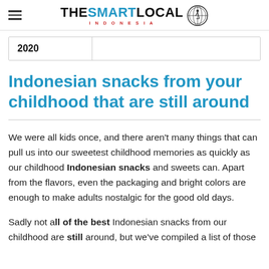THE SMART LOCAL INDONESIA
| 2020 |  |
Indonesian snacks from your childhood that are still around
We were all kids once, and there aren't many things that can pull us into our sweetest childhood memories as quickly as our childhood Indonesian snacks and sweets can. Apart from the flavors, even the packaging and bright colors are enough to make adults nostalgic for the good old days.
Sadly not all of the best Indonesian snacks from our childhood are still around, but we've compiled a list of those